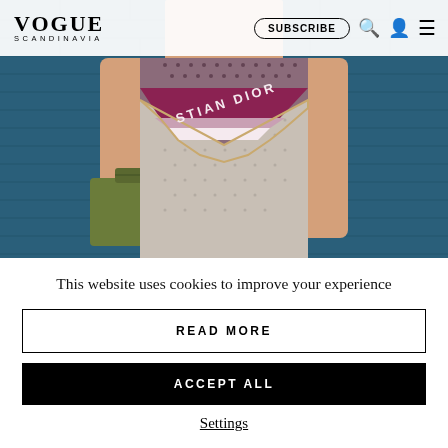VOGUE SCANDINAVIA — SUBSCRIBE
[Figure (photo): Fashion photo of a person wearing a Christian Dior patterned scarf/top and grey knit skirt, holding an olive green handbag, standing in front of a blue textured brick wall.]
This website uses cookies to improve your experience
READ MORE
ACCEPT ALL
Settings